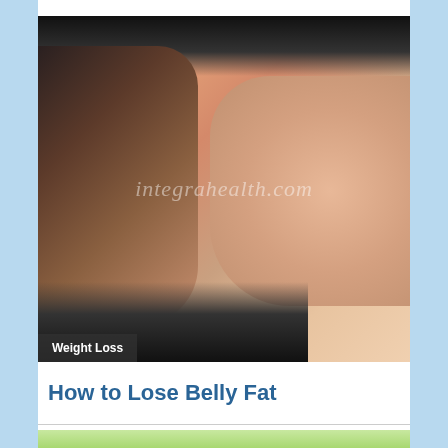[Figure (photo): Close-up photo of a person's midsection showing belly fat, with a watermark reading 'integrahealth.com'. Person wearing black sports bra/top.]
Weight Loss
How to Lose Belly Fat
[Figure (photo): Partial view of a second photo below a divider line, showing a person in a green/lime top.]